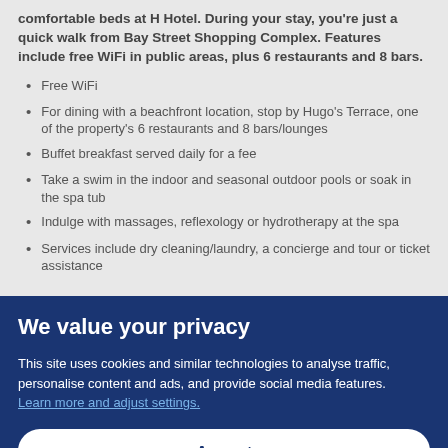comfortable beds at H Hotel. During your stay, you're just a quick walk from Bay Street Shopping Complex. Features include free WiFi in public areas, plus 6 restaurants and 8 bars.
Free WiFi
For dining with a beachfront location, stop by Hugo's Terrace, one of the property's 6 restaurants and 8 bars/lounges
Buffet breakfast served daily for a fee
Take a swim in the indoor and seasonal outdoor pools or soak in the spa tub
Indulge with massages, reflexology or hydrotherapy at the spa
Services include dry cleaning/laundry, a concierge and tour or ticket assistance
We value your privacy
This site uses cookies and similar technologies to analyse traffic, personalise content and ads, and provide social media features. Learn more and adjust settings.
Accept